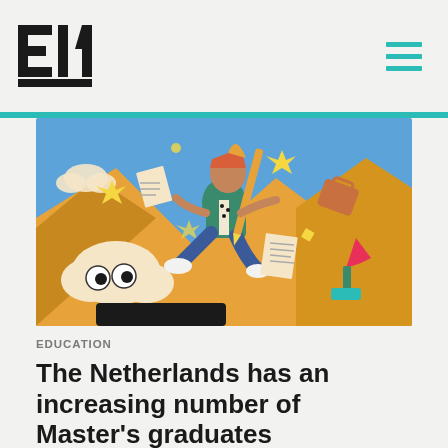EM
[Figure (illustration): Colorful editorial illustration showing a person in a green jacket meditating/floating in a chaotic scene with flying papers, documents, a briefcase, clouds, stars, and other surreal elements on a warm orange/yellow background with blue sky.]
EDUCATION
The Netherlands has an increasing number of Master's graduates
In recent years the number of people holding a Master's degree or a PhD has risen…